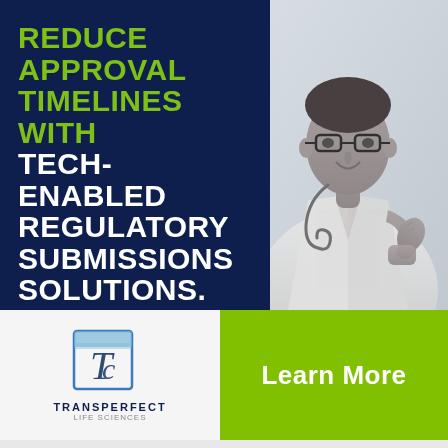[Figure (illustration): Advertisement banner: dark navy left panel with headline text, right panel shows grayscale photo of smiling doctor in white coat giving thumbs up]
REDUCE APPROVAL TIMELINES WITH TECH-ENABLED REGULATORY SUBMISSIONS SOLUTIONS.
[Figure (logo): TransPerfect logo: stylized letter T in a square border with wave, text TRANSPERFECT below]
Learn More